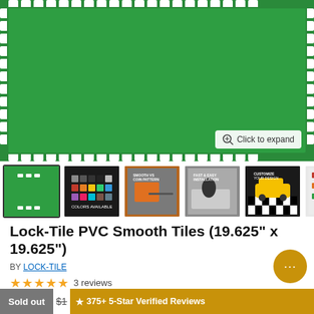[Figure (photo): Green PVC interlocking tile with white puzzle-piece interlocking edges on all sides, showing smooth green surface. Button overlay reads 'Click to expand'.]
[Figure (photo): Thumbnail row: selected green tile thumbnail, color swatch grid thumbnail, orange tile installation thumbnail, person installing tile thumbnail, yellow hot rod car on checkered floor thumbnail, product info graphic thumbnail. Arrow to scroll right.]
Lock-Tile PVC Smooth Tiles (19.625" x 19.625")
BY LOCK-TILE
★★★★★ 3 reviews
Sold out  $1  ★ 375+ 5-Star Verified Reviews